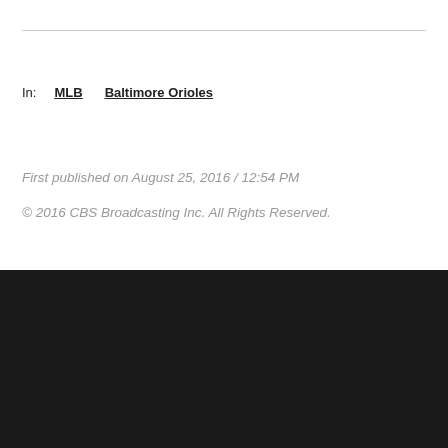In:   MLB   Baltimore Orioles
First published on August 25, 2016 / 12:54 PM
© 2016 CBS Broadcasting Inc. All Rights Reserved.
©CBS NEWS AND STATIONS
©2022 CBS Broadcasting Inc. All Rights Reserved.
WJZ    Terms of Use
WJZ
Terms of Use